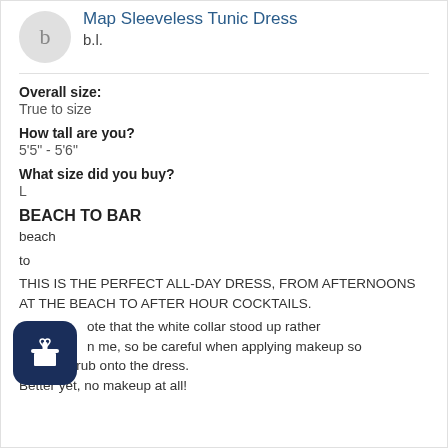[Figure (illustration): User avatar circle with letter 'b' and product name 'Map Sleeveless Tunic Dress' with subtitle 'b.l.']
Overall size:
True to size
How tall are you?
5'5" - 5'6"
What size did you buy?
L
BEACH TO BAR
beach

to

THIS IS THE PERFECT ALL-DAY DRESS, FROM AFTERNOONS AT THE BEACH TO AFTER HOUR COCKTAILS.
...ote that the white collar stood up rather ...n me, so be careful when applying makeup so it doesn't rub onto the dress.
Better yet, no makeup at all!